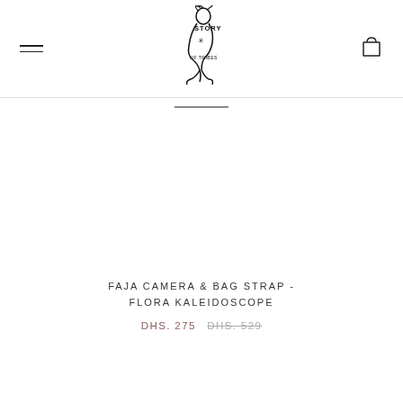Story of Tribes — navigation header with hamburger menu and cart icon
[Figure (logo): Story of Tribes logo: a stylized seated figure with decorative lettering spelling STORY OF TRIBES]
FAJA CAMERA & BAG STRAP - FLORA KALEIDOSCOPE
DHS. 275  DHS. 529